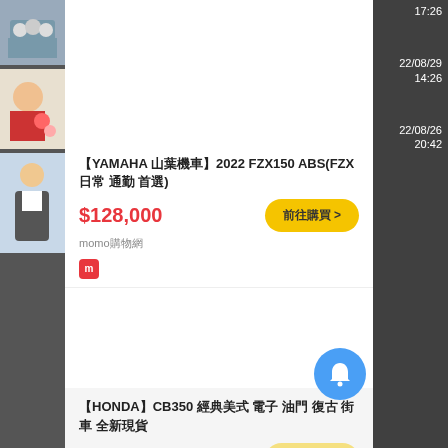17:26
22/08/29 14:26
22/08/26 20:42
【YAMAHA 山葉機車】2022 FZX150 ABS(FZX 日常 通勤 首選)
$128,000
momo購物網
【HONDA】CB350 經典美式 電子 油門 復古 街車 全新現貨
$178,000